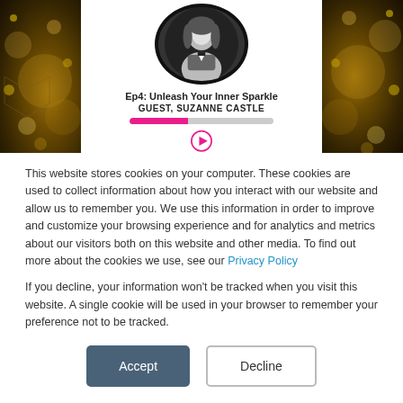[Figure (screenshot): Podcast episode player UI with circular black-and-white portrait of a woman, episode title 'Ep4: Unleash Your Inner Sparkle', guest name 'GUEST, SUZANNE CASTLE', a pink progress bar partially filled, and a pink play button circle. Left and right panels show dark bokeh gold sparkle backgrounds.]
This website stores cookies on your computer. These cookies are used to collect information about how you interact with our website and allow us to remember you. We use this information in order to improve and customize your browsing experience and for analytics and metrics about our visitors both on this website and other media. To find out more about the cookies we use, see our Privacy Policy
If you decline, your information won't be tracked when you visit this website. A single cookie will be used in your browser to remember your preference not to be tracked.